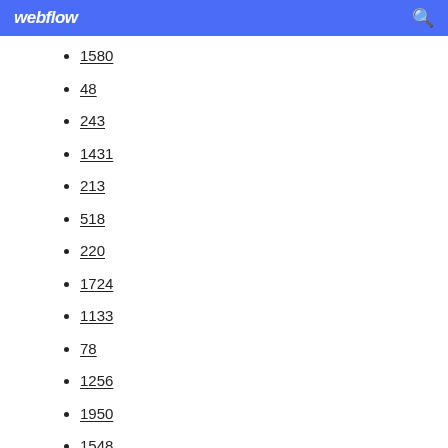webflow
1580
48
243
1431
213
518
220
1724
1133
78
1256
1950
1548